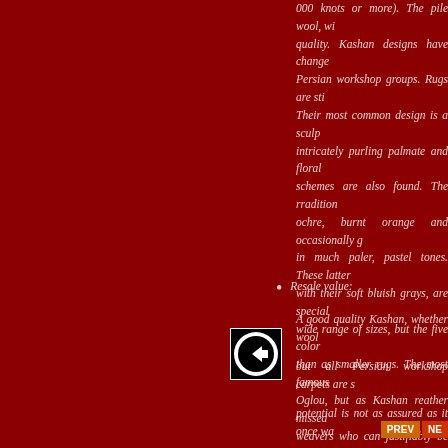000 knots or more). The pile wool, wh quality. Kashan designs have change Persian workshop groups. Rugs are sti Their most common design is a sculp intricately purling palmate and floral schemes are also found. The rradition ochre, burnt orange and occasionally g in much paler, pastel tones. These latter with their soft bluish grays, are special wide range of sizes, but the five color than as smaller rugs. The most famous Oglou, but as Kashan reather missed weavers who can justifiably be elevated
Resale value: A good quality Kashan, whether wool but all Persian workshop carpets are s potential is not as assured as it once wa
[Figure (logo): Black and white logo with a circle containing an arrow/compass-like symbol pointing left, with a 'C' shape]